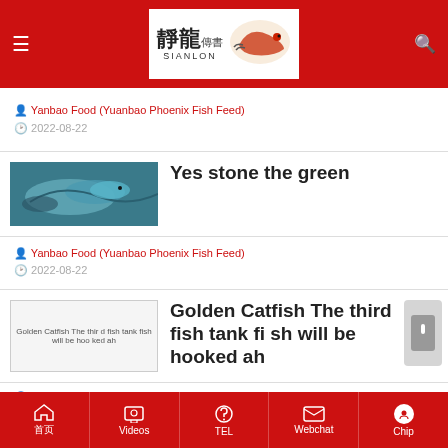SIANLON header with logo and navigation icons
Yanbao Food (Yuanbao Phoenix Fish Feed)
2022-08-22
[Figure (photo): Photo of colorful fish, blue/teal tones, 'Yes stone the green' article image]
Yes stone the green
Yanbao Food (Yuanbao Phoenix Fish Feed)
2022-08-22
[Figure (photo): Broken image placeholder: Golden Catfish The third fish tank fish will be hooked ah]
Golden Catfish The third fish tank fish will be hooked ah
Yanbao Food (Yuanbao Phoenix Fish Feed)
Home | Videos | TEL | Webchat | Chip